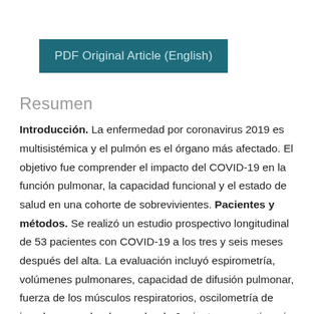PDF Original Article (English)
Resumen
Introducción. La enfermedad por coronavirus 2019 es multisistémica y el pulmón es el órgano más afectado. El objetivo fue comprender el impacto del COVID-19 en la función pulmonar, la capacidad funcional y el estado de salud en una cohorte de sobrevivientes. Pacientes y métodos. Se realizó un estudio prospectivo longitudinal de 53 pacientes con COVID-19 a los tres y seis meses después del alta. La evaluación incluyó espirometría, volúmenes pulmonares, capacidad de difusión pulmonar, fuerza de los músculos respiratorios, oscilometría de impulsos, prueba de marcha de 6 minutos y cuestionario